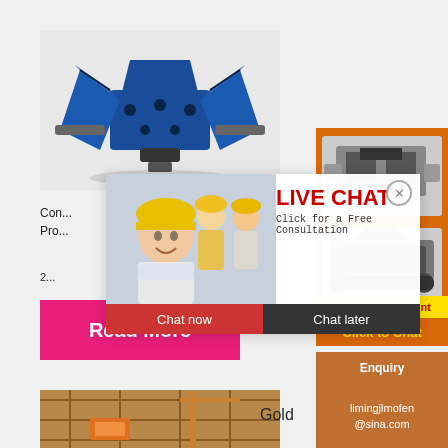(PDF)
[Figure (photo): Blue industrial crusher/hammer mill machine on white/grey background]
Con...
Pro...
[Figure (photo): Live chat popup overlay showing smiling female worker in hard hat and colleagues, with LIVE CHAT text and Chat now / Chat later buttons]
2...
Read More
[Figure (photo): Construction site with yellow machinery and scaffolding]
Gold
[Figure (photo): Orange sidebar panel showing two industrial crusher machines]
Enjoy 3% discount
Click to Chat
Enquiry
limingjlmofen
@sina.com